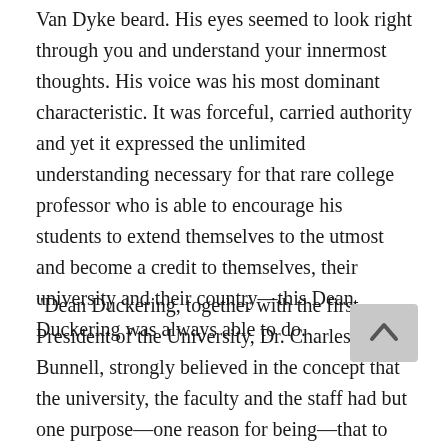Van Dyke beard. His eyes seemed to look right through you and understand your innermost thoughts. His voice was his most dominant characteristic. It was forceful, carried authority and yet it expressed the unlimited understanding necessary for that rare college professor who is able to encourage his students to extend themselves to the utmost and become a credit to themselves, their university and their country—this Dean Duckering was always able to do.
"Dean Duckering, together with the first President of the University, Dr. Charles E. Bunnell, strongly believed in the concept that the university, the faculty and the staff had but one purpose—one reason for being—that to help the young students overcome their problems and guide them on their path to becoming useful members of society. This co[ncept i]s too often lacking in many of our institutions of higher learning in the world of today.